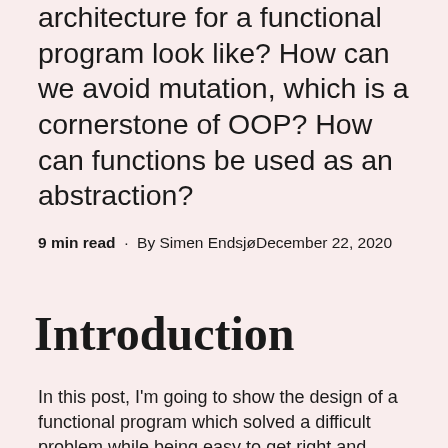architecture for a functional program look like? How can we avoid mutation, which is a cornerstone of OOP? How can functions be used as an abstraction?
9 min read · By Simen EndsjøDecember 22, 2020
Introduction
In this post, I'm going to show the design of a functional program which solved a difficult problem while being easy to get right and